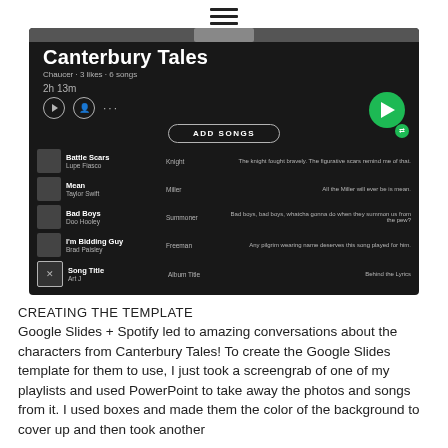≡
[Figure (screenshot): A Spotify playlist screenshot showing 'Canterbury Tales' playlist by Chaucer, 3 likes, 6 songs, 2h 13m duration. Contains songs: Battle Scars by Lupe Fiasco (Knight), Mean by Taylor Swift (Miller), Bad Boys by Doo Hooley (Summoner), I'm Bidding Guy by Brad Paisley (Freeman), Song Title by Art J (Album Title). Has ADD SONGS button and play/shuffle controls.]
CREATING THE TEMPLATE
Google Slides + Spotify led to amazing conversations about the characters from Canterbury Tales! To create the Google Slides template for them to use, I just took a screengrab of one of my playlists and used PowerPoint to take away the photos and songs from it. I used boxes and made them the color of the background to cover up and then took another